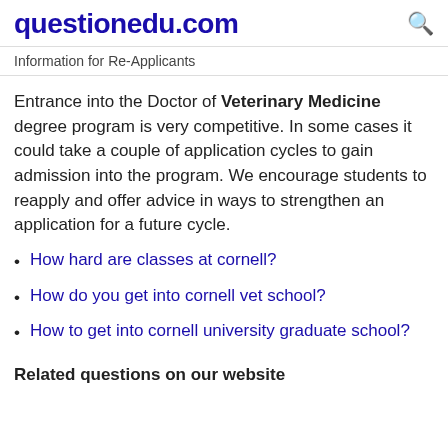questionedu.com
Information for Re-Applicants
Entrance into the Doctor of Veterinary Medicine degree program is very competitive. In some cases it could take a couple of application cycles to gain admission into the program. We encourage students to reapply and offer advice in ways to strengthen an application for a future cycle.
How hard are classes at cornell?
How do you get into cornell vet school?
How to get into cornell university graduate school?
Related questions on our website